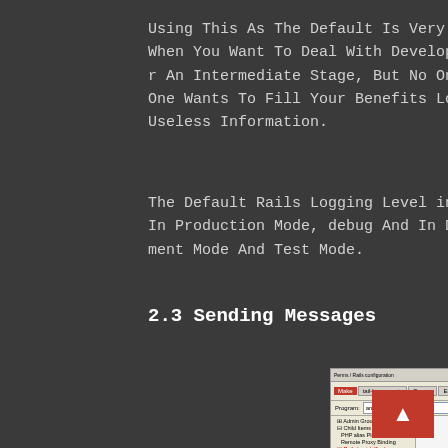Using This As The Default Is Very Useful When You Want To Deal With Development Or An Intermediate Stage, But No One But One Wants To Fill Your Benefits Log With Useless Information.
The Default Rails Logging Level info Is In Production Mode, debug And In Development Mode And Test Mode.
2.3 Sending Messages
[Figure (screenshot): A screenshot of a software configuration dialog window with tabs and a tree-view sidebar.]